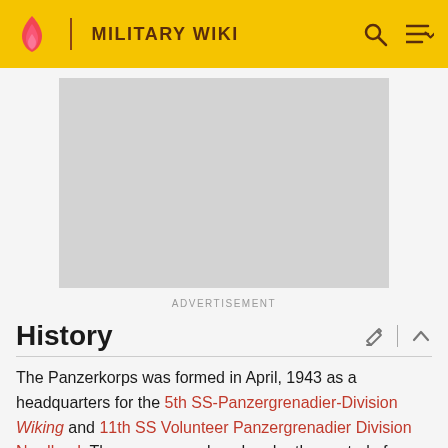MILITARY WIKI
[Figure (other): Advertisement placeholder - gray rectangle]
ADVERTISEMENT
History
The Panzerkorps was formed in April, 1943 as a headquarters for the 5th SS-Panzergrenadier-Division Wiking and 11th SS Volunteer Panzergrenadier Division Nordland. The corps was placed under the control of former Wiking commander SS-Obergruppenfuhrer Felix